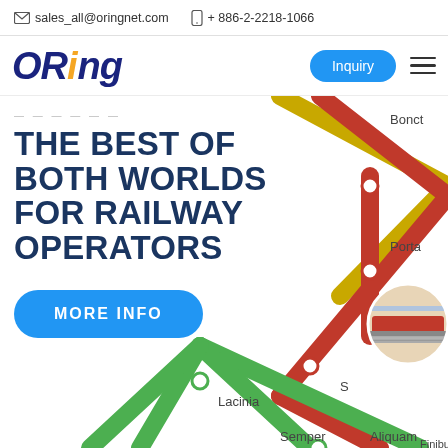sales_all@oringnet.com  + 886-2-2218-1066
[Figure (logo): ORing company logo in bold italic navy blue with orange dot accent]
Inquiry
THE BEST OF BOTH WORLDS FOR RAILWAY OPERATORS
MORE INFO
[Figure (map): Stylized metro/railway network map with colored lines (red, green, gold) and station labels: Bonct, Porta, Finibus, Lacinia, S, Semper, Aliquam, Finibus. A circular photo of a red train on tracks is overlaid.]